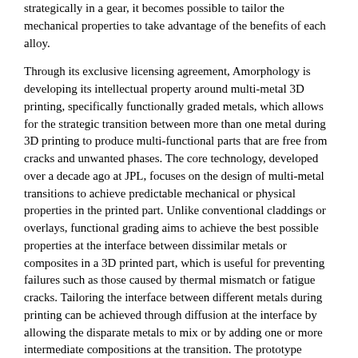strategically in a gear, it becomes possible to tailor the mechanical properties to take advantage of the benefits of each alloy.
Through its exclusive licensing agreement, Amorphology is developing its intellectual property around multi-metal 3D printing, specifically functionally graded metals, which allows for the strategic transition between more than one metal during 3D printing to produce multi-functional parts that are free from cracks and unwanted phases. The core technology, developed over a decade ago at JPL, focuses on the design of multi-metal transitions to achieve predictable mechanical or physical properties in the printed part. Unlike conventional claddings or overlays, functional grading aims to achieve the best possible properties at the interface between dissimilar metals or composites in a 3D printed part, which is useful for preventing failures such as those caused by thermal mismatch or fatigue cracks. Tailoring the interface between different metals during printing can be achieved through diffusion at the interface by allowing the disparate metals to mix or by adding one or more intermediate compositions at the transition. The prototype developed in the current partnership was produced through wire-fed DED by printing the base of the gear from high-toughness steel and then sharply transitioning to the high hardness steel at the vertical location where the teeth begin, using the melt pool to diffuse the layers. The materials could